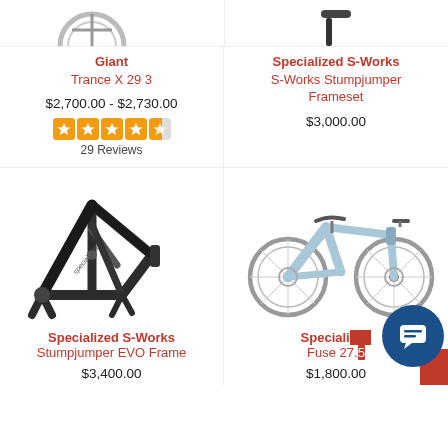[Figure (photo): Partial top images of two bikes/products cropped at top]
Giant
Trance X 29 3
$2,700.00 - $2,730.00
[Figure (other): 4.5 star rating widget]
29 Reviews
Specialized S-Works
S-Works Stumpjumper Frameset
$3,000.00
[Figure (photo): Specialized S-Works Stumpjumper EVO Frame product image - black carbon frame]
Specialized S-Works
Stumpjumper EVO Frame
$3,400.00
[Figure (photo): Specialized Fuse 27.5 - light blue mountain bike]
Specialized
Fuse 27.5
$1,800.00